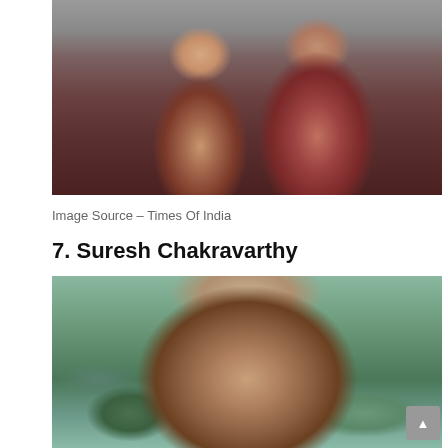[Figure (photo): A couple sitting together, woman in red saree with gold jewelry, man in red shirt, stone steps in background]
Image Source – Times Of India
7. Suresh Chakravarthy
[Figure (photo): Bald man with black glasses in a close-up selfie, green trees and water/lake in background]